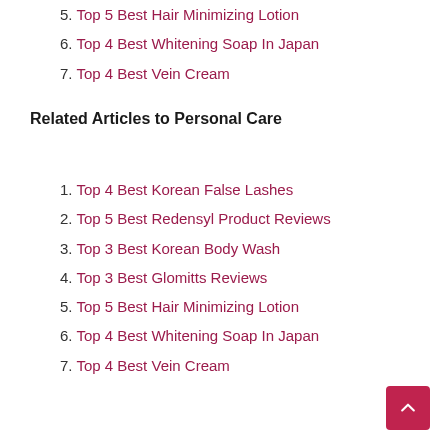5. Top 5 Best Hair Minimizing Lotion
6. Top 4 Best Whitening Soap In Japan
7. Top 4 Best Vein Cream
Related Articles to Personal Care
1. Top 4 Best Korean False Lashes
2. Top 5 Best Redensyl Product Reviews
3. Top 3 Best Korean Body Wash
4. Top 3 Best Glomitts Reviews
5. Top 5 Best Hair Minimizing Lotion
6. Top 4 Best Whitening Soap In Japan
7. Top 4 Best Vein Cream